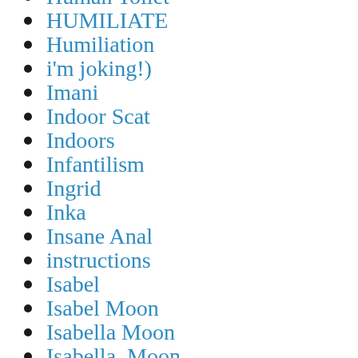Human Toilet
HUMILIATE
Humiliation
i'm joking!)
Imani
Indoor Scat
Indoors
Infantilism
Ingrid
Inka
Insane Anal
instructions
Isabel
Isabel Moon
Isabella Moon
Isabella  Moon